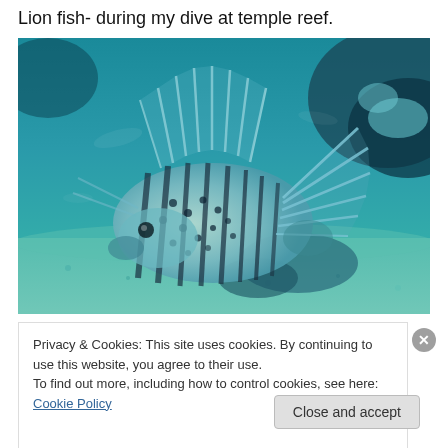Lion fish- during my dive at temple reef.
[Figure (photo): Underwater photograph of a lionfish resting near the sandy bottom of a coral reef at temple reef. The fish displays its distinctive striped pattern with large fan-like pectoral fins spread out, with blue-green tinted water and reef rocks in the background.]
Privacy & Cookies: This site uses cookies. By continuing to use this website, you agree to their use.
To find out more, including how to control cookies, see here: Cookie Policy